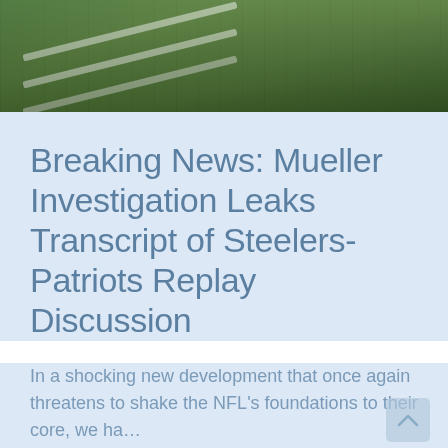[Figure (photo): Aerial view of a football field with white yard lines visible on green grass]
Breaking News: Mueller Investigation Leaks Transcript of Steelers-Patriots Replay Discussion
In a shocking new development that once again threatens to shake the NFL's foundations to their core, we ha...
[Figure (photo): Dark screen with cyan/blue glowing digital display, possibly a scoreboard or video board]